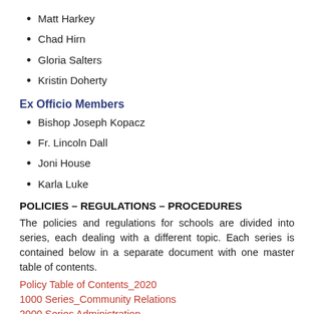Matt Harkey
Chad Hirn
Gloria Salters
Kristin Doherty
Ex Officio Members
Bishop Joseph Kopacz
Fr. Lincoln Dall
Joni House
Karla Luke
POLICIES – REGULATIONS – PROCEDURES
The policies and regulations for schools are divided into series, each dealing with a different topic. Each series is contained below in a separate document with one master table of contents.
Policy Table of Contents_2020
1000 Series_Community Relations
2000 Series Administration
3000 Series_Business & Non-Instructional Operations